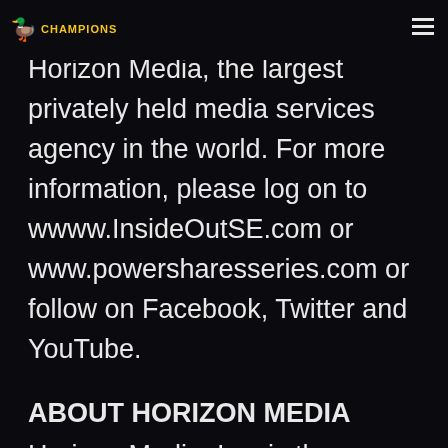Entertainment merged with Horizon Media, the largest privately held media services agency in the world. For more information, please log on to wwww.InsideOutSE.com or www.powersharesseries.com or follow on Facebook, Twitter and YouTube.
ABOUT HORIZON MEDIA
Horizon Media, Inc. is the largest and fastest growing privately held media services agency in the world. The company was founded in 1989, is headquartered in New York and has offices in Los Angeles, San Diego, and Chicago. Horizon Media was chosen as 2011